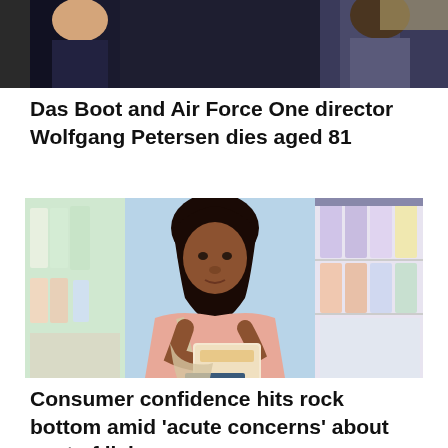[Figure (photo): Partial photo at top of page showing two people in dark clothing, cropped — appears to be a film or entertainment related image]
Das Boot and Air Force One director Wolfgang Petersen dies aged 81
[Figure (photo): A young Black woman in a pink sweater shopping in a grocery store aisle, holding a product and reading its label, with shelves of products visible on both sides]
Consumer confidence hits rock bottom amid ‘acute concerns’ about cost of living